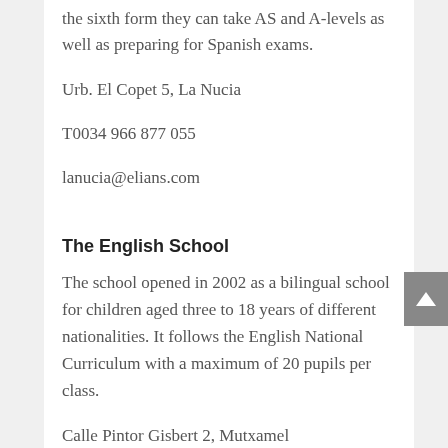the sixth form they can take AS and A-levels as well as preparing for Spanish exams.
Urb. El Copet 5, La Nucia
T0034 966 877 055
lanucia@elians.com
The English School
The school opened in 2002 as a bilingual school for children aged three to 18 years of different nationalities. It follows the English National Curriculum with a maximum of 20 pupils per class.
Calle Pintor Gisbert 2, Mutxamel